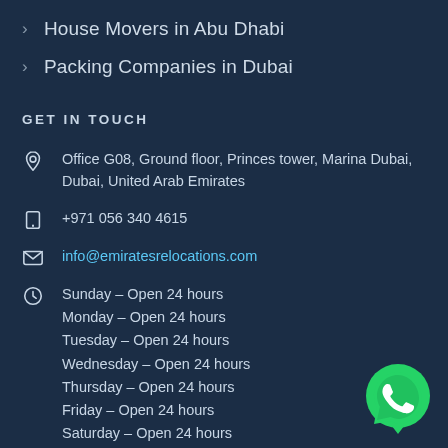House Movers in Abu Dhabi
Packing Companies in Dubai
GET IN TOUCH
Office G08, Ground floor, Princes tower, Marina Dubai, Dubai, United Arab Emirates
+971 056 340 4615
info@emiratesrelocations.com
Sunday – Open 24 hours
Monday – Open 24 hours
Tuesday – Open 24 hours
Wednesday – Open 24 hours
Thursday – Open 24 hours
Friday – Open 24 hours
Saturday – Open 24 hours
[Figure (logo): WhatsApp green chat button icon]